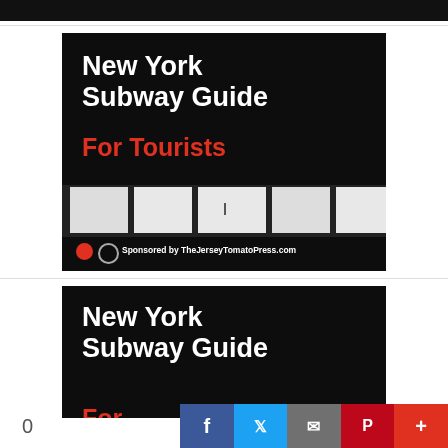[Figure (photo): Partial top strip of a dark book/guide cover]
[Figure (illustration): New York Subway Guide For Tourists book cover with dark background, white bold title text, red subtitle 'For Tourists', subway station photo with person on platform, two circles (red filled, white outlined), and 'Sponsored by TheJerseyTomatoPress.com' text at bottom]
[Figure (illustration): Partial second instance of New York Subway Guide cover showing white bold text 'New York Subway Guide' with red text beginning to show at bottom, cropped]
[Figure (infographic): Social sharing bar at bottom with Facebook (blue), Twitter (light blue), Email (gray), Pinterest (dark red), and Plus (red) buttons, with a '0' count on the left]